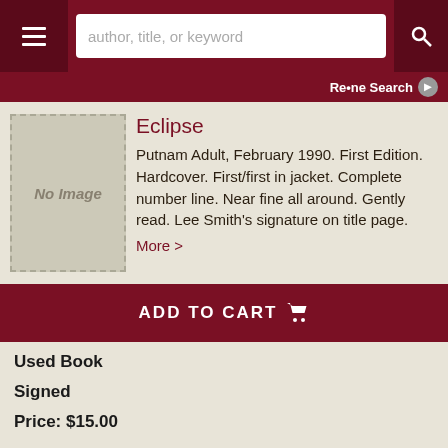author, title, or keyword
Refine Search
Eclipse
Putnam Adult, February 1990. First Edition. Hardcover. First/first in jacket. Complete number line. Near fine all around. Gently read. Lee Smith's signature on title page. More >
ADD TO CART
Used Book
Signed
Price: $15.00